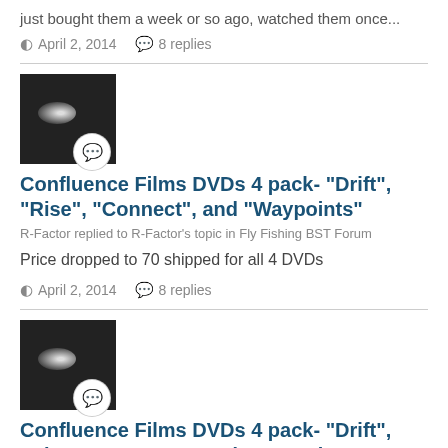just bought them a week or so ago, watched them once...
April 2, 2014   8 replies
[Figure (photo): Dark avatar image with chat bubble badge icon]
Confluence Films DVDs 4 pack- "Drift", "Rise", "Connect", and "Waypoints"
R-Factor replied to R-Factor's topic in Fly Fishing BST Forum
Price dropped to 70 shipped for all 4 DVDs
April 2, 2014   8 replies
[Figure (photo): Dark avatar image with chat bubble badge icon]
Confluence Films DVDs 4 pack- "Drift", "Rise", "Connect", and "Waypoints"
R-Factor replied to R-Factor's topic in Fly Fishing BST [CLOSE]
I'd rather sell the set all together- don't blame you for asking though if you already have the others.